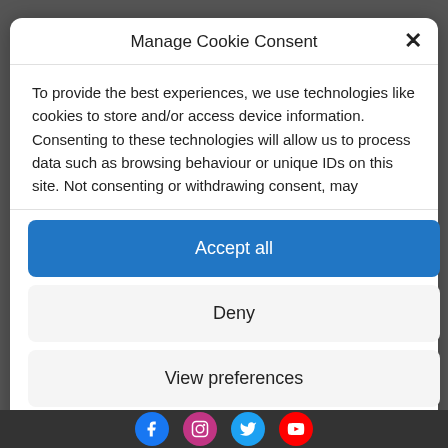Manage Cookie Consent
To provide the best experiences, we use technologies like cookies to store and/or access device information. Consenting to these technologies will allow us to process data such as browsing behaviour or unique IDs on this site. Not consenting or withdrawing consent, may adversely affect certain features and functions.
Accept all
Deny
View preferences
Cookie Policy   Privacy policy